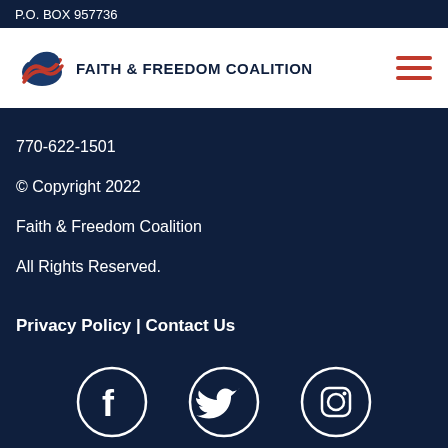P.O. BOX 957736
[Figure (logo): Faith & Freedom Coalition logo with eagle/flag icon and bold text]
770-622-1501
© Copyright 2022
Faith & Freedom Coalition
All Rights Reserved.
Privacy Policy | Contact Us
[Figure (illustration): Social media icons: Facebook, Twitter, Instagram in white circles on dark navy background]